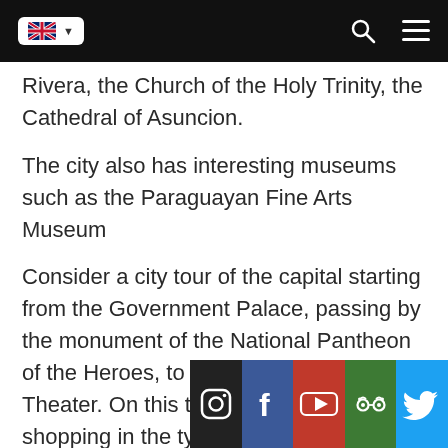[Figure (screenshot): Navigation bar with UK flag language selector, search icon, and hamburger menu on dark background]
Rivera, the Church of the Holy Trinity, the Cathedral of Asuncion.
The city also has interesting museums such as the Paraguayan Fine Arts Museum
Consider a city tour of the capital starting from the Government Palace, passing by the monument of the National Pantheon of the Heroes, to get to the National Theater. On this tour you can have fun shopping in the typical streets of the capital and you can also stop at the most famous local fruit market in the cou
[Figure (infographic): Social media icon bar with Instagram, Facebook, YouTube, TripAdvisor, and Twitter icons]